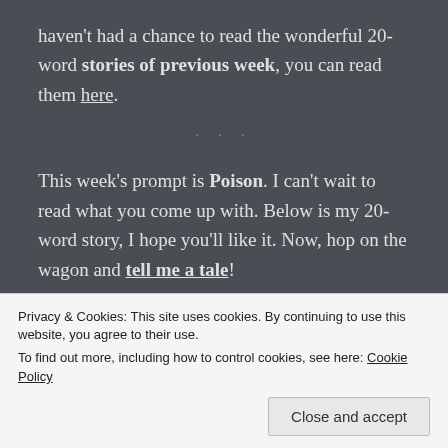haven't had a chance to read the wonderful 20-word stories of previous week, you can read them here.
This week's prompt is Poison. I can't wait to read what you come up with. Below is my 20-word story, I hope you'll like it. Now, hop on the wagon and tell me a tale!
Privacy & Cookies: This site uses cookies. By continuing to use this website, you agree to their use. To find out more, including how to control cookies, see here: Cookie Policy